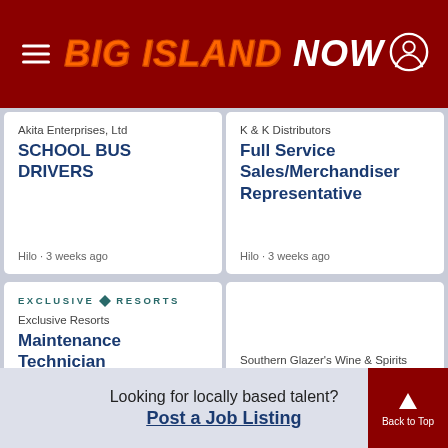BIG ISLAND NOW
Akita Enterprises, Ltd
SCHOOL BUS DRIVERS
Hilo · 3 weeks ago
K & K Distributors
Full Service Sales/Merchandiser Representative
Hilo · 3 weeks ago
Exclusive Resorts
Maintenance Technician
Kohala · 3 weeks ago
Southern Glazer's Wine & Spirits
Distribution Driver Class B
Kohala · 4 weeks ago
Looking for locally based talent?
Post a Job Listing